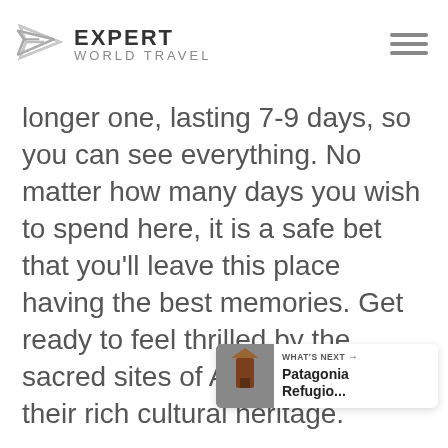EXPERT WORLD TRAVEL
longer one, lasting 7-9 days, so you can see everything. No matter how many days you wish to spend here, it is a safe bet that you'll leave this place having the best memories. Get ready to feel thrilled by the sacred sites of Aboriginals and their rich cultural heritage.
[Figure (screenshot): What's Next widget showing Patagonia Refugio... with thumbnail image]